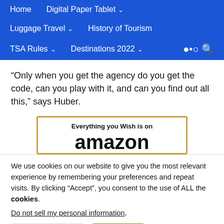Home | Digital Paper Tablet | Luggage Travel | History of Tourism | TSA Rules | Destinations 2022
“Only when you get the agency do you get the code, can you play with it, and can you find out all this,” says Huber.
[Figure (other): Amazon advertisement banner reading 'Everything you Wish is on amazon']
We use cookies on our website to give you the most relevant experience by remembering your preferences and repeat visits. By clicking “Accept”, you consent to the use of ALL the cookies.
Do not sell my personal information.